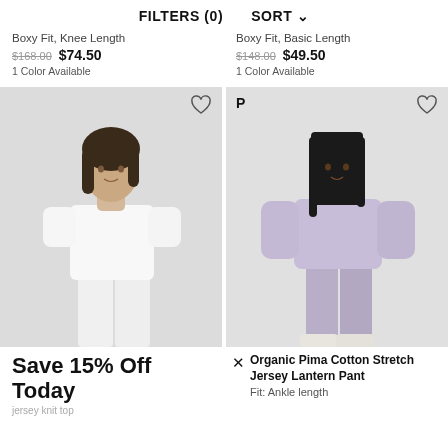FILTERS (0)   SORT
Boxy Fit, Knee Length
$168.00  $74.50
1 Color Available
Boxy Fit, Basic Length
$148.00  $49.50
1 Color Available
[Figure (photo): Woman wearing a white boxy short-sleeve t-shirt and white wide-leg pants, standing against light grey background. Heart/wishlist icon in top-right corner of image.]
[Figure (photo): Woman wearing a lavender/light purple boxy sweatshirt and matching lavender tapered lantern pants with white sneakers, standing against light grey background. 'P' label in top-left, heart/wishlist icon in top-right corner of image.]
Save 15% Off Today
jersey knit top
Organic Pima Cotton Stretch Jersey Lantern Pant
Fit: Ankle length